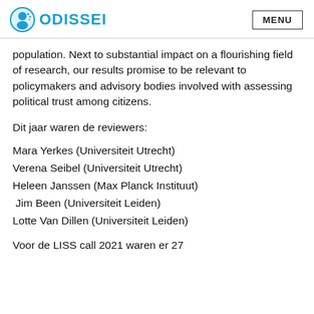ODISSEI   MENU
population. Next to substantial impact on a flourishing field of research, our results promise to be relevant to policymakers and advisory bodies involved with assessing political trust among citizens.
Dit jaar waren de reviewers:
Mara Yerkes (Universiteit Utrecht)
Verena Seibel (Universiteit Utrecht)
Heleen Janssen (Max Planck Instituut)
Jim Been (Universiteit Leiden)
Lotte Van Dillen (Universiteit Leiden)
Voor de LISS call 2021 waren er 27